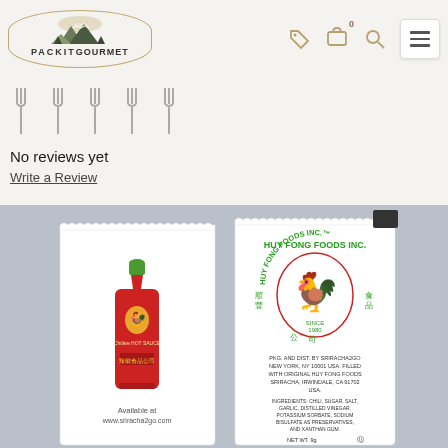PackitGourmet - website header with logo, cart icon (0 items), search, and menu
[Figure (illustration): Five fork-shaped rating icons in a row, unfilled/outline style, indicating no star rating yet]
No reviews yet
Write a Review
[Figure (photo): Two Sriracha hot sauce single-serve packets side by side on a gray background. Left packet shows the front with the iconic Sriracha bottle graphic with rooster logo (Huy Fong Foods). Right packet shows the back with Huy Fong Foods Inc. logo, rooster graphic, ingredients list, and net wt 9g. Text includes: Available at www.sriracha2go.com on front packet. Back packet text: PKG. AND DIST. BY SRIRACHA2GO, NEW YORK, NY 10001 USA. FILLED WITH ORIGINAL HUY FONG FOODS SRIRACHA, IRWINDALE, CA 91702 USA. INGREDIENTS: CHILI, SUGAR, SALT, GARLIC, DISTILLED VINEGAR, POTASSIUM SORBATE, SODIUM BISULFATE AS PRESERVATIVES, AND XANTHAN GUM. NET WT 9g.]